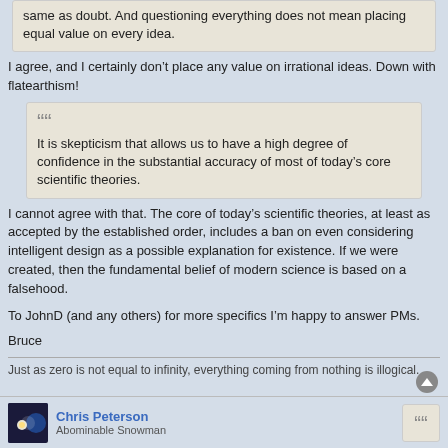same as doubt. And questioning everything does not mean placing equal value on every idea.
I agree, and I certainly don’t place any value on irrational ideas. Down with flatearthism!
It is skepticism that allows us to have a high degree of confidence in the substantial accuracy of most of today’s core scientific theories.
I cannot agree with that. The core of today’s scientific theories, at least as accepted by the established order, includes a ban on even considering intelligent design as a possible explanation for existence. If we were created, then the fundamental belief of modern science is based on a falsehood.
To JohnD (and any others) for more specifics I’m happy to answer PMs.
Bruce
Just as zero is not equal to infinity, everything coming from nothing is illogical.
Chris Peterson
Abominable Snowman